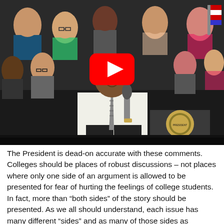[Figure (screenshot): YouTube video thumbnail showing a speaker holding a microphone at a podium with the Presidential seal, with a crowd of young people seated in the background. A large red YouTube play button is overlaid in the center of the image.]
The President is dead-on accurate with these comments. Colleges should be places of robust discussions – not places where only one side of an argument is allowed to be presented for fear of hurting the feelings of college students. In fact, more than "both sides" of the story should be presented. As we all should understand, each issue has many different "sides" and as many of those sides as possible should be presented to help give college students better perspectives on which to make their own decisions.